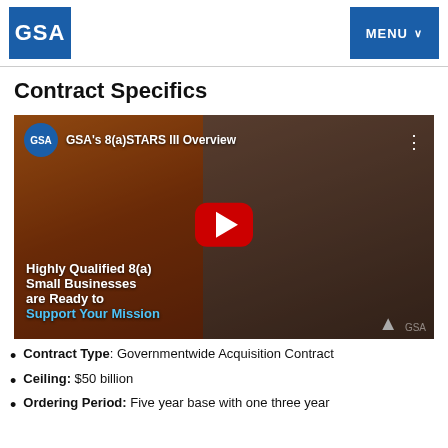GSA | MENU
Contract Specifics
[Figure (screenshot): YouTube video thumbnail for 'GSA's 8(a)STARS III Overview' showing two people working together, with a YouTube play button, text 'Highly Qualified 8(a) Small Businesses are Ready to Support Your Mission']
Contract Type: Governmentwide Acquisition Contract
Ceiling: $50 billion
Ordering Period: Five year base with one three year